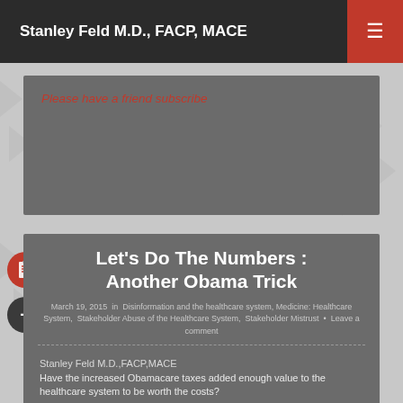Stanley Feld M.D., FACP, MACE
Please have a friend subscribe
Let's Do The Numbers : Another Obama Trick
March 19, 2015  in  Disinformation and the healthcare system, Medicine: Healthcare System,  Stakeholder Abuse of the Healthcare System,  Stakeholder Mistrust  •  Leave a comment
Stanley Feld M.D.,FACP,MACE
Have the increased Obamacare taxes added enough value to the healthcare system to be worth the costs?